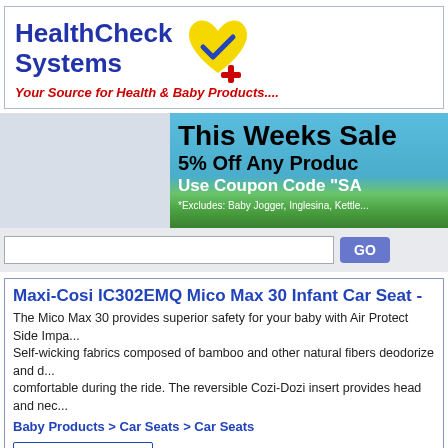[Figure (logo): HealthCheck Systems logo with blue bold text and a yellow heart with blue checkmark and red cross symbol]
Your Source for Health & Baby Products....
[Figure (infographic): This Weeks Sale banner - 5% Off Any Product, Use Coupon Code 'SA...', *Excludes: Baby Jogger, Inglesina, Kettle...]
Maxi-Cosi IC302EMQ Mico Max 30 Infant Car Seat -
The Mico Max 30 provides superior safety for your baby with Air Protect Side Impa... Self-wicking fabrics composed of bamboo and other natural fibers deodorize and d... comfortable during the ride. The reversible Cozi-Dozi insert provides head and nec...
Baby Products > Car Seats > Car Seats
Price Drop Alert
[Figure (photo): Partial image of Maxi-Cosi infant car seat in dark color at bottom of page]